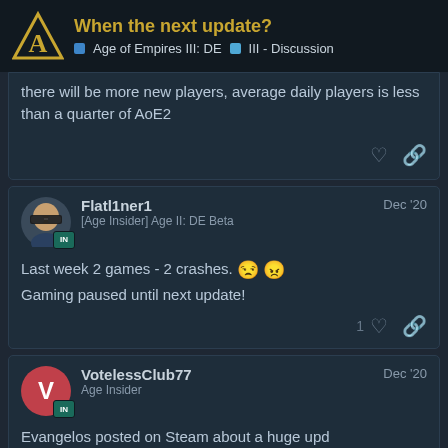When the next update? | Age of Empires III: DE | III - Discussion
there will be more new players, average daily players is less than a quarter of AoE2
Flatl1ner1 [Age Insider] Age II: DE Beta Dec '20
Last week 2 games - 2 crashes. Gaming paused until next update!
VotelessClub77 Age Insider Dec '20
Evangelos posted on Steam about a huge upd… next week
7 / 26